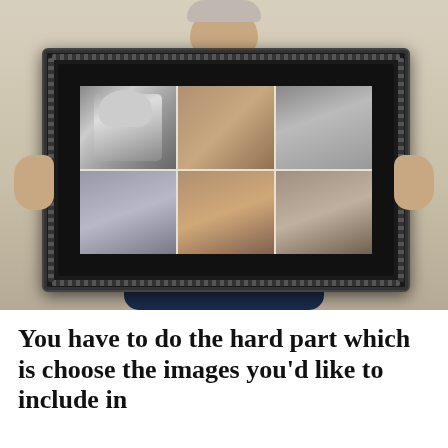[Figure (photo): A person holding a large black-framed photo collage containing multiple photographs of people — including black and white portraits and color photos of couples and individuals.]
You have to do the hard part which is choose the images you'd like to include in